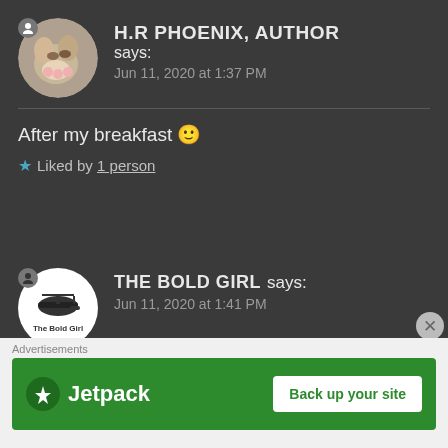H.R PHOENIX, AUTHOR says:
Jun 11, 2020 at 1:37 PM
After my breakfast 🙂
★ Liked by 1 person
THE BOLD GIRL says:
Jun 11, 2020 at 1:41 PM
Okay! Will wait for your
[Figure (screenshot): Jetpack advertisement banner with logo and 'Back up your site' button]
Advertisements